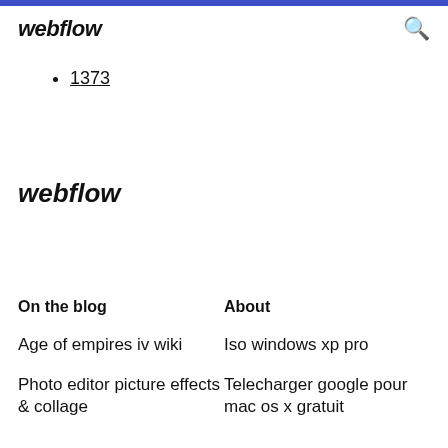webflow
1373
webflow
On the blog
About
Age of empires iv wiki
Iso windows xp pro
Photo editor picture effects & collage
Telecharger google pour mac os x gratuit